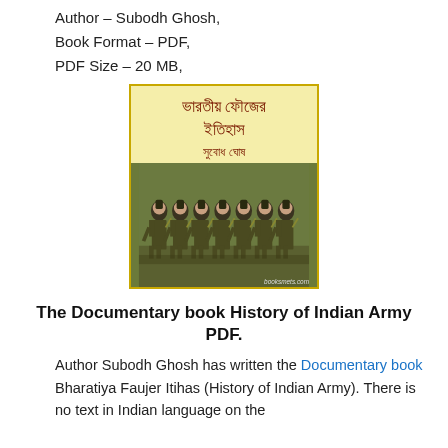Author – Subodh Ghosh,
Book Format – PDF,
PDF Size – 20 MB,
[Figure (illustration): Book cover of 'Bharatiya Faujer Itihas' (History of Indian Army) by Subodh Ghosh. Cover has a yellow/cream background with Bengali text title and author name, and a photograph of Indian Army soldiers marching in uniform. Watermark: booksmets.com]
The Documentary book History of Indian Army PDF.
Author Subodh Ghosh has written the Documentary book Bharatiya Faujer Itihas (History of Indian Army). There is no text in Indian language on the